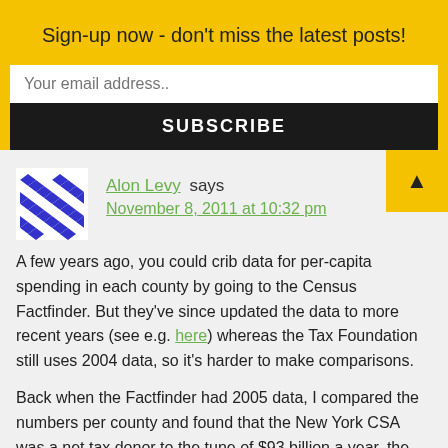Sign-up now - don't miss the latest posts!
Your email address..
SUBSCRIBE
Alon Levy says
November 8, 2011 at 10:32 pm
A few years ago, you could crib data for per-capita spending in each county by going to the Census Factfinder. But they've since updated the data to more recent years (see e.g. here) whereas the Tax Foundation still uses 2004 data, so it's harder to make comparisons.
Back when the Factfinder had 2005 data, I compared the numbers per county and found that the New York CSA was a net tax donor to the tune of $93 billion a year, the SF and LA CSAs were net